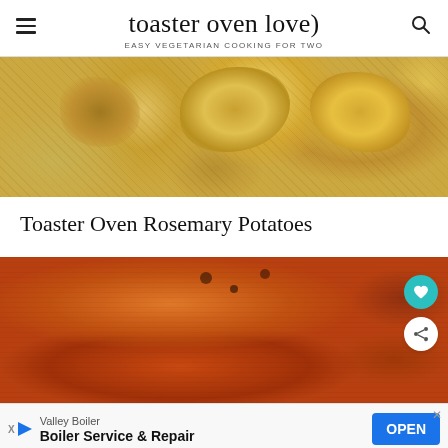toaster oven love
EASY VEGETARIAN COOKING FOR TWO
[Figure (photo): Close-up photo of roasted golden-brown potato chunks on a baking sheet with speckled parchment]
Toaster Oven Rosemary Potatoes
[Figure (photo): Close-up photo of roasted sweet potato halves with caramelized tops on a baking sheet, with favorite (heart) and share buttons overlaid]
Valley Boiler
Boiler Service & Repair
OPEN